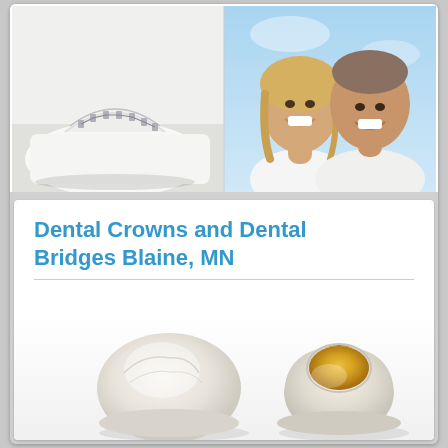[Figure (photo): Top composite photo: left side shows a dental model/retainer with metal brackets on white plaster cast; right side shows a smiling middle-aged couple (woman and man) on a blue sky background]
Dental Crowns and Dental Bridges Blaine, MN
[Figure (photo): Close-up photo of two dental tooth models/crowns on white background: left is a white ceramic crown, right is a crown with gold/yellow abutment core visible]